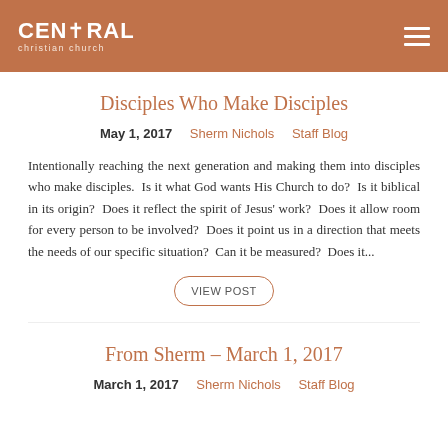CENTRAL christian church
Disciples Who Make Disciples
May 1, 2017   Sherm Nichols   Staff Blog
Intentionally reaching the next generation and making them into disciples who make disciples.  Is it what God wants His Church to do?  Is it biblical in its origin?  Does it reflect the spirit of Jesus' work?  Does it allow room for every person to be involved?  Does it point us in a direction that meets the needs of our specific situation?  Can it be measured?  Does it...
VIEW POST
From Sherm – March 1, 2017
March 1, 2017   Sherm Nichols   Staff Blog